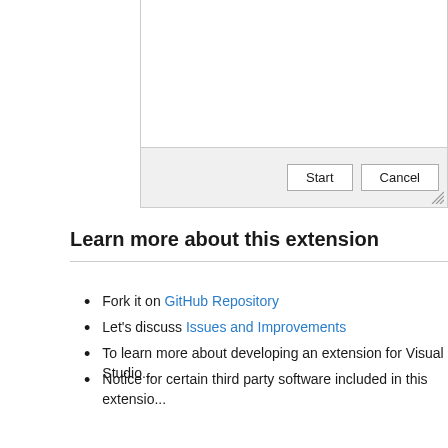[Figure (screenshot): Dialog box top portion showing white content area with Start and Cancel buttons on a gray footer bar, and a resize handle at bottom right corner.]
Learn more about this extension
Fork it on GitHub Repository
Let's discuss Issues and Improvements
To learn more about developing an extension for Visual Studio...
Notice for certain third party software included in this extensio...